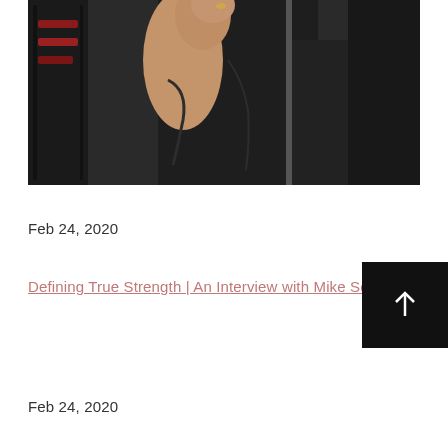[Figure (photo): Close-up photo of a muscular person in a gym setting, wearing dark clothing, with arm raised, holding what appears to be a barbell or pole. Dark gym equipment visible in background.]
Feb 24, 2020
Defining True Strength | An Interview with Mike Sell
Feb 24, 2020